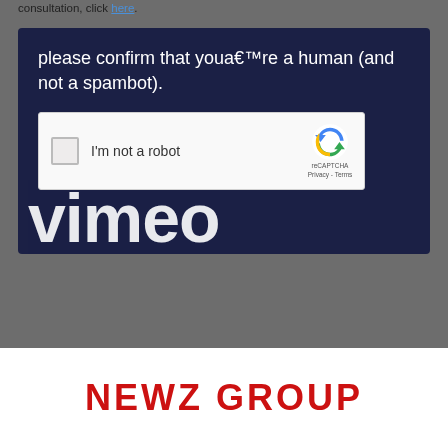consultation, click here.
[Figure (screenshot): Dark navy blue box containing CAPTCHA verification UI. Text reads 'please confirm that youa€™re a human (and not a spambot).' with a reCAPTCHA widget showing checkbox labeled 'I'm not a robot' and reCAPTCHA logo. Below is partial 'vimeo' logo text in white.]
NEWZ GROUP